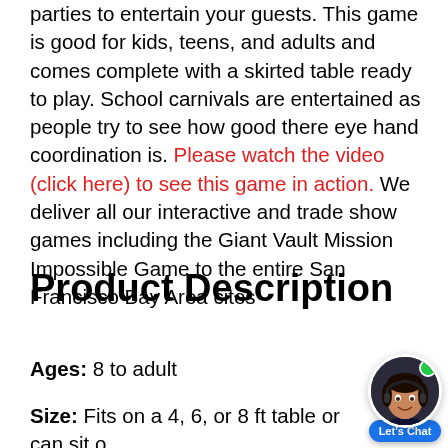parties to entertain your guests. This game is good for kids, teens, and adults and comes complete with a skirted table ready to play. School carnivals are entertained as people try to see how good there eye hand coordination is. Please watch the video (click here) to see this game in action. We deliver all our interactive and trade show games including the Giant Vault Mission Impossible Game to the entire San Francisco Bay Area cites
Product Description
Ages: 8 to adult
Size: Fits on a 4, 6, or 8 ft table or can sit on a flat surface on the ground. (Table works best)